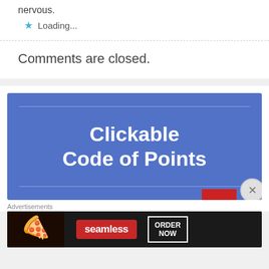nervous.
★ Loading...
Comments are closed.
[Figure (infographic): Blue banner with white bold text reading 'Clickable Code of Points' with decorative horizontal lines top and bottom, a red bar and circular close button in the bottom-right corner]
Advertisements
[Figure (infographic): Seamless food delivery advertisement banner showing pizza image, Seamless logo in red, and 'ORDER NOW' button with white border on dark background]